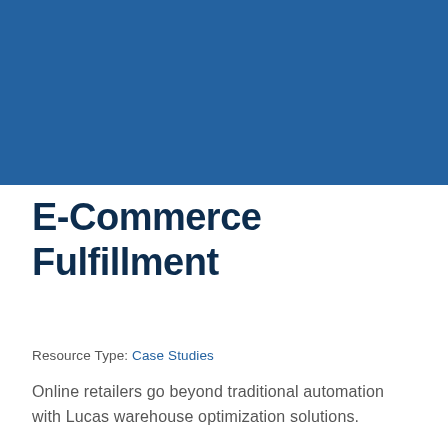[Figure (other): Blue rectangular banner image occupying the top portion of the page]
E-Commerce Fulfillment
Resource Type: Case Studies
Online retailers go beyond traditional automation with Lucas warehouse optimization solutions.